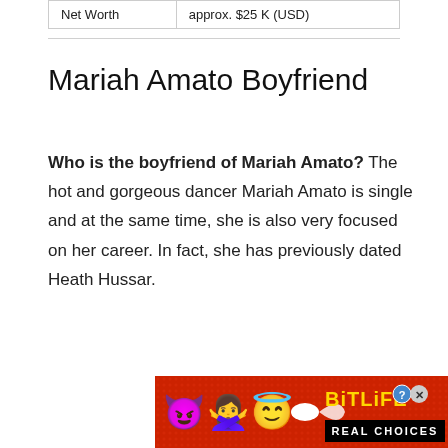| Net Worth | approx. $25 K (USD) |
| --- | --- |
Mariah Amato Boyfriend
Who is the boyfriend of Mariah Amato? The hot and gorgeous dancer Mariah Amato is single and at the same time, she is also very focused on her career. In fact, she has previously dated Heath Hussar.
[Figure (other): BitLife advertisement banner with emoji characters (devil, woman raising hands, angel emoji, sperm emoji) on red background with yellow BitLife logo and 'REAL CHOICES' text]